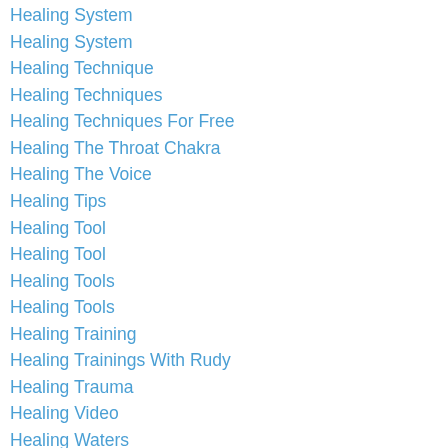Healing System
Healing System
Healing Technique
Healing Techniques
Healing Techniques For Free
Healing The Throat Chakra
Healing The Voice
Healing Tips
Healing Tool
Healing Tool
Healing Tools
Healing Tools
Healing Training
Healing Trainings With Rudy
Healing Trauma
Healing Video
Healing Waters
Healing Work For You
Healing Workshop
Healing Workshop With Rudy Hunter
Healing Your Consciousness